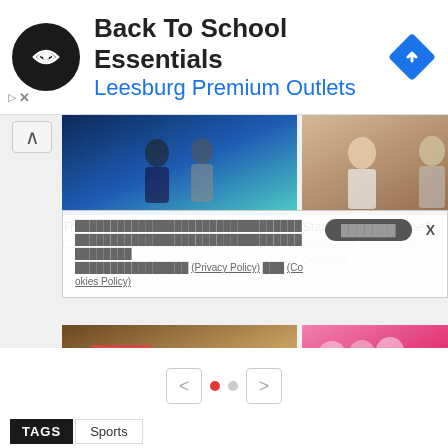[Figure (screenshot): Advertisement banner: Back To School Essentials, Leesburg Premium Outlets, with black circular logo and blue navigation arrow icon]
[Figure (photo): Thai PM with two people in suits on a stage with blue background]
Thai PM grants 'Thailand Cybersecurity Excellence
[Figure (photo): People at a coffee bar, man with tattoos]
Stars Coffee, Anyone? Starbucks Successor Opening
Cookie policy notice in Thai script with Privacy Policy and Cookies Policy links
[Figure (photo): Bangkok street food market stall with fried food and vegetables sign]
Opinion: Do Not Make Bangkok Boring by
[Figure (photo): Group of people in pink and white at an event with floral balloon backdrop]
Gays Hail Singapore Sex-Ban Repeal, See Long Way to
< • • >
TAGS   Sports